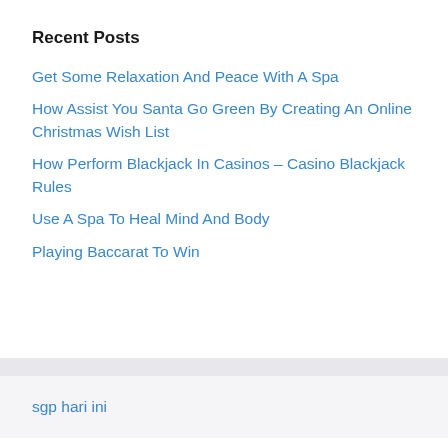Recent Posts
Get Some Relaxation And Peace With A Spa
How Assist You Santa Go Green By Creating An Online Christmas Wish List
How Perform Blackjack In Casinos – Casino Blackjack Rules
Use A Spa To Heal Mind And Body
Playing Baccarat To Win
sgp hari ini